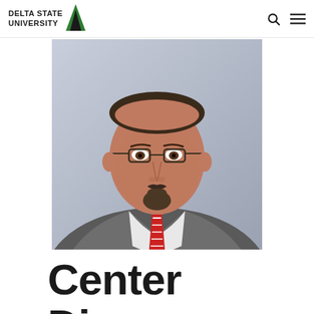Delta State University
[Figure (photo): Professional headshot of a man wearing glasses, a gray herringbone blazer, white dress shirt, and red-and-white striped tie, against a light gray background.]
Center Di...